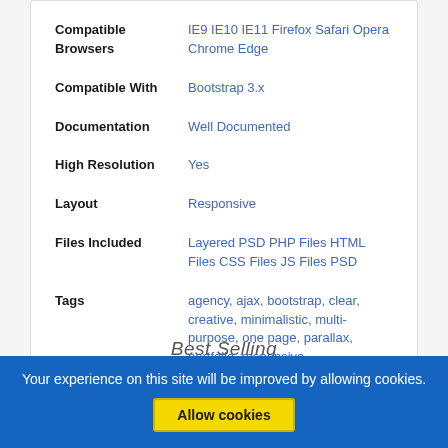| Property | Value |
| --- | --- |
| Compatible Browsers | IE9 IE10 IE11 Firefox Safari Opera Chrome Edge |
| Compatible With | Bootstrap 3.x |
| Documentation | Well Documented |
| High Resolution | Yes |
| Layout | Responsive |
| Files Included | Layered PSD PHP Files HTML Files CSS Files JS Files PSD |
| Tags | agency, ajax, bootstrap, clear, creative, minimalistic, multi-purpose, one page, parallax, portfolio, responsive, |
Best Selling
Your experience on this site will be improved by allowing cookies.
Allow cookies